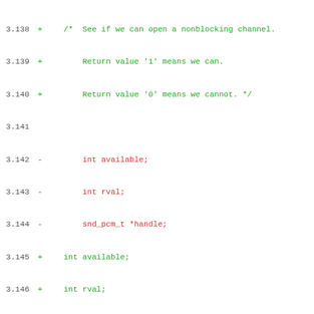Code diff showing modifications to audio channel nonblocking check function, lines 3.138-3.169
[Figure (screenshot): Diff view of source code showing removed (red) and added (green) lines for a nonblocking audio channel check function, with line numbers 3.138 through 3.169]